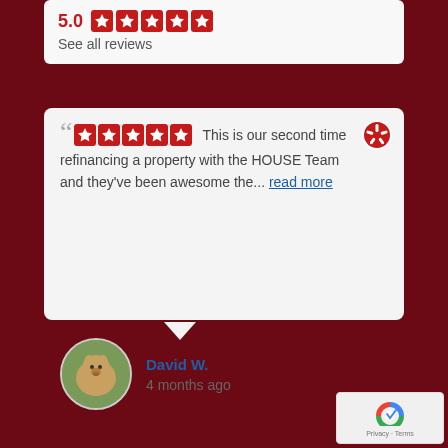[Figure (screenshot): Rating row showing 5.0 score with five red star boxes]
See all reviews
[Figure (screenshot): Review card with quote marks, five red star rating boxes, Yelp logo, and review text: This is our second time refinancing a property with the HOUSE Team and they've been awesome the... read more]
David W.
4 months ago
[Figure (logo): reCAPTCHA badge with Privacy · Terms text]